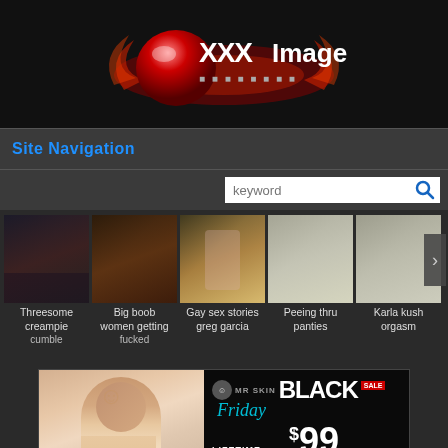[Figure (logo): XXX Image website logo with red sphere and flame graphics on black background]
Site Navigation
[Figure (screenshot): Search bar with keyword placeholder and blue magnifying glass icon]
[Figure (photo): Row of five adult content thumbnail images with captions: Threesome creampie cumble, Big boob women getting fucked, Gay sex stories greg garcia, Peeing thru panties, Karla kush orgasm]
[Figure (infographic): MR SKIN Black Friday Sale advertisement banner - LIFETIME MEMBERSHIP $99]
Spiritual bondage in church